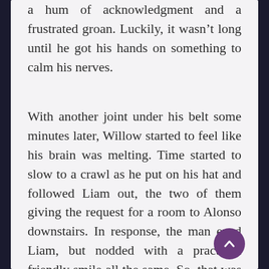a hum of acknowledgment and a frustrated groan. Luckily, it wasn't long until he got his hands on something to calm his nerves.
With another joint under his belt some minutes later, Willow started to feel like his brain was melting. Time started to slow to a crawl as he put on his hat and followed Liam out, the two of them giving the request for a room to Alonso downstairs. In response, the man eyed Liam, but nodded with a practiced friendly smile all the same. So, that was that.